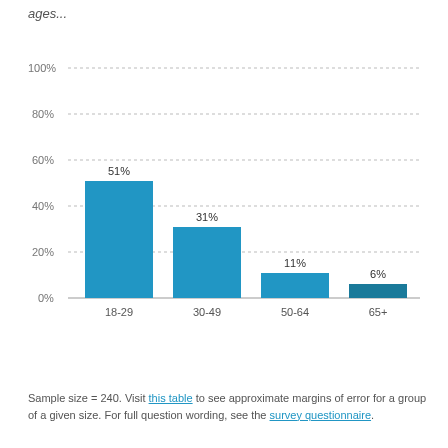[Figure (bar-chart): ages...]
Sample size = 240. Visit this table to see approximate margins of error for a group of a given size. For full question wording, see the survey questionnaire.